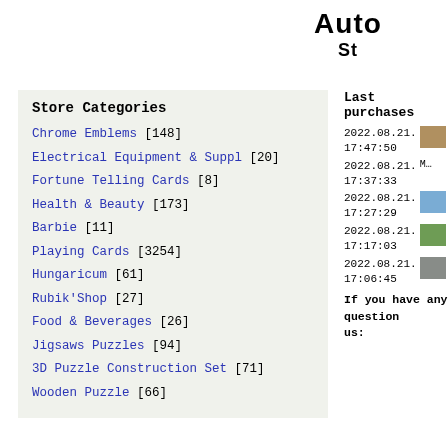Auto St
Store Categories
Chrome Emblems [148]
Electrical Equipment & Suppl [20]
Fortune Telling Cards [8]
Health & Beauty [173]
Barbie [11]
Playing Cards [3254]
Hungaricum [61]
Rubik'Shop [27]
Food & Beverages [26]
Jigsaws Puzzles [94]
3D Puzzle Construction Set [71]
Wooden Puzzle [66]
Last purchases
2022.08.21. 17:47:50
2022.08.21. 17:37:33
2022.08.21. 17:27:29
2022.08.21. 17:17:03
2022.08.21. 17:06:45
If you have any questions us: